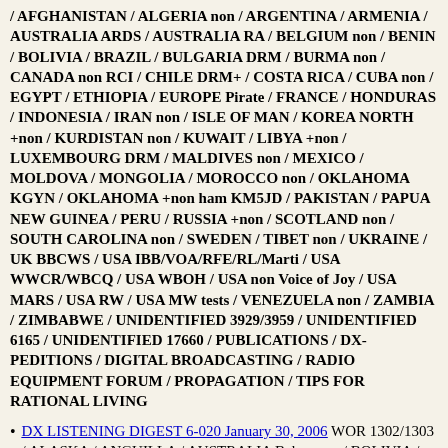/ AFGHANISTAN / ALGERIA non / ARGENTINA / ARMENIA / AUSTRALIA ARDS / AUSTRALIA RA / BELGIUM non / BENIN / BOLIVIA / BRAZIL / BULGARIA DRM / BURMA non / CANADA non RCI / CHILE DRM+ / COSTA RICA / CUBA non / EGYPT / ETHIOPIA / EUROPE Pirate / FRANCE / HONDURAS / INDONESIA / IRAN non / ISLE OF MAN / KOREA NORTH +non / KURDISTAN non / KUWAIT / LIBYA +non / LUXEMBOURG DRM / MALDIVES non / MEXICO / MOLDOVA / MONGOLIA / MOROCCO non / OKLAHOMA KGYN / OKLAHOMA +non ham KM5JD / PAKISTAN / PAPUA NEW GUINEA / PERU / RUSSIA +non / SCOTLAND non / SOUTH CAROLINA non / SWEDEN / TIBET non / UKRAINE / UK BBCWS / USA IBB/VOA/RFE/RL/Marti / USA WWCR/WBCQ / USA WBOH / USA non Voice of Joy / USA MARS / USA RW / USA MW tests / VENEZUELA non / ZAMBIA / ZIMBABWE / UNIDENTIFIED 3929/3959 / UNIDENTIFIED 6165 / UNIDENTIFIED 17660 / PUBLICATIONS / DX-PEDITIONS / DIGITAL BROADCASTING / RADIO EQUIPMENT FORUM / PROPAGATION / TIPS FOR RATIONAL LIVING
DX LISTENING DIGEST 6-020 January 30, 2006 WOR 1302/1303 / ALASKA / ANGUILLA / AUSTRALIA Belconnen / BOLIVIA / BOTSWANA / BRAZIL / CANADA CFVP / CANADA CBC/RCI / CHINA +non / COSTA RICA / CUBA +non